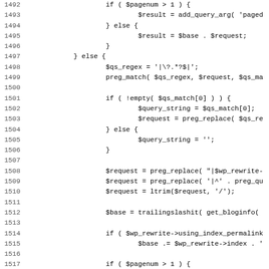[Figure (other): Source code listing in PHP, lines 1492-1523, showing URL rewriting logic with if/else blocks, regex matching, and string manipulation.]